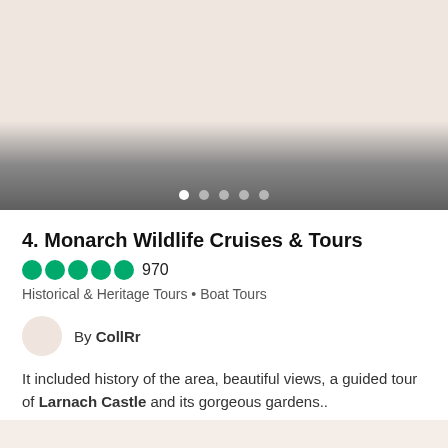[Figure (photo): Image carousel area with gradient fading to dark gray at bottom, with navigation dots]
4. Monarch Wildlife Cruises & Tours
970
Historical & Heritage Tours • Boat Tours
By CollRr
It included history of the area, beautiful views, a guided tour of Larnach Castle and its gorgeous gardens..